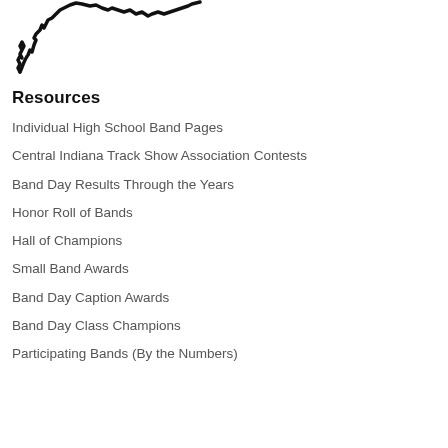[Figure (illustration): Outline/silhouette map or abstract jagged line shape in black]
Resources
Individual High School Band Pages
Central Indiana Track Show Association Contests
Band Day Results Through the Years
Honor Roll of Bands
Hall of Champions
Small Band Awards
Band Day Caption Awards
Band Day Class Champions
Participating Bands (By the Numbers)